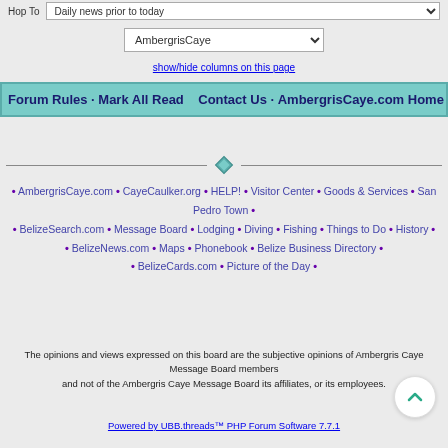Hop To  |  Daily news prior to today
AmbergrisCaye
show/hide columns on this page
Forum Rules · Mark All Read   Contact Us · AmbergrisCaye.com Home
• AmbergrisCaye.com • CayeCaulker.org • HELP! • Visitor Center • Goods & Services • San Pedro Town • • BelizeSearch.com • Message Board • Lodging • Diving • Fishing • Things to Do • History • • BelizeNews.com • Maps • Phonebook • Belize Business Directory • • BelizeCards.com • Picture of the Day •
The opinions and views expressed on this board are the subjective opinions of Ambergris Caye Message Board members and not of the Ambergris Caye Message Board its affiliates, or its employees.
Powered by UBB.threads™ PHP Forum Software 7.7.1